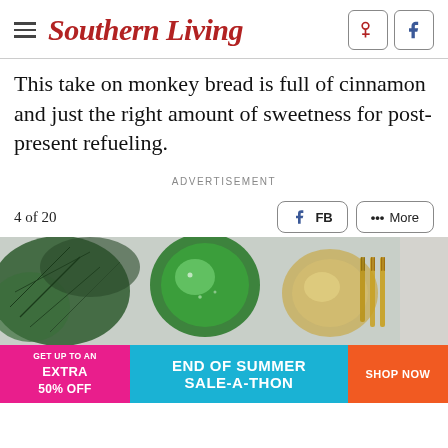Southern Living
This take on monkey bread is full of cinnamon and just the right amount of sweetness for post-present refueling.
ADVERTISEMENT
4 of 20
[Figure (photo): Overhead photo of green glassware, a bowl with liquid, gold forks on a light surface, and greenery/herbs in the background.]
[Figure (infographic): Advertisement banner: GET UP TO AN EXTRA 50% OFF / END OF SUMMER SALE-A-THON / SHOP NOW]